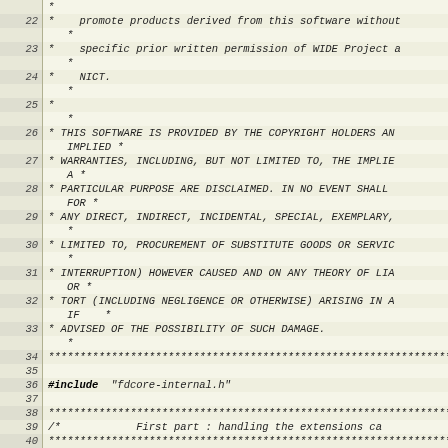Source code listing lines 22-42, C file with license header and includes
| line | code |
| --- | --- |
| 22 | *    promote products derived from this software without |
|  |    * |
| 23 | *    specific prior written permission of WIDE Project a |
|  |    * |
| 24 | *    NICT. |
|  |    * |
| 25 | * |
|  |    * |
| 26 | * THIS SOFTWARE IS PROVIDED BY THE COPYRIGHT HOLDERS AN |
|  |    IMPLIED * |
| 27 | * WARRANTIES, INCLUDING, BUT NOT LIMITED TO, THE IMPLIE |
|  |    A * |
| 28 | * PARTICULAR PURPOSE ARE DISCLAIMED. IN NO EVENT SHALL |
|  |    FOR * |
| 29 | * ANY DIRECT, INDIRECT, INCIDENTAL, SPECIAL, EXEMPLARY, |
|  |    * |
| 30 | * LIMITED TO, PROCUREMENT OF SUBSTITUTE GOODS OR SERVIC |
|  |    * |
| 31 | * INTERRUPTION) HOWEVER CAUSED AND ON ANY THEORY OF LIA |
|  |    OR * |
| 32 | * TORT (INCLUDING NEGLIGENCE OR OTHERWISE) ARISING IN A |
|  |    IF    * |
| 33 | * ADVISED OF THE POSSIBILITY OF SUCH DAMAGE. |
|  |    * |
| 34 | ****************************************************************** |
| 35 |  |
| 36 | #include "fdcore-internal.h" |
| 37 |  |
| 38 | ****************************************************************** |
| 39 | /*             First part : handling the extensions ca |
| 40 | ****************************************************************** |
| 41 |  |
| 42 | /* Lists of the callbacks, and locks to protect them * |